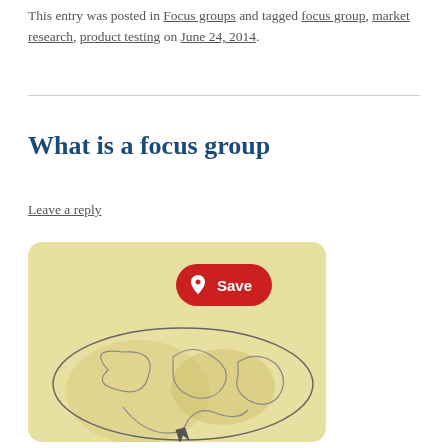This entry was posted in Focus groups and tagged focus group, market research, product testing on June 24, 2014.
What is a focus group
Leave a reply
[Figure (illustration): An illustration on a yellow/beige background showing abstract organic shapes outlined in dark lines, with lighter beige blob shapes overlapping, suggesting a focus group or brainstorming concept. A red Pinterest 'Save' button overlay is visible at the top right of the image.]